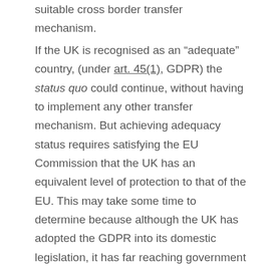suitable cross border transfer mechanism.
If the UK is recognised as an “adequate” country, (under art. 45(1), GDPR) the status quo could continue, without having to implement any other transfer mechanism. But achieving adequacy status requires satisfying the EU Commission that the UK has an equivalent level of protection to that of the EU. This may take some time to determine because although the UK has adopted the GDPR into its domestic legislation, it has far reaching government surveillance powers which may adversely effect data subjects privacy rights. Until this issue has been